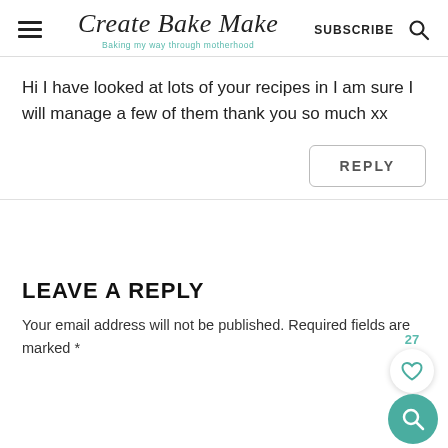Create Bake Make — Baking my way through motherhood
Hi I have looked at lots of your recipes in I am sure I will manage a few of them thank you so much xx
REPLY
LEAVE A REPLY
Your email address will not be published. Required fields are marked *